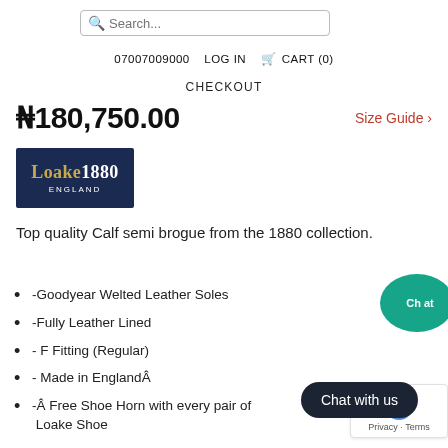Search...
07007009000   LOG IN   🛒 CART (0)
CHECKOUT
₦180,750.00
Size Guide >
[Figure (logo): Loake 1880 England brand logo on dark navy background with gold and white text]
Top quality Calf semi brogue from the 1880 collection.
-Goodyear Welted Leather Soles
-Fully Leather Lined
- F Fitting (Regular)
- Made in EnglandÂ
-Â Free Shoe Horn with every pair of Loake Shoe